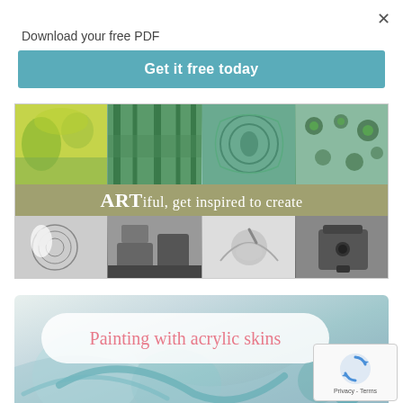Download your free PDF
×
Get it free today
[Figure (illustration): ARTiful website banner with colorful art images in grid, center text reads 'ARTiful, get inspired to create' on khaki/olive background strip]
[Figure (illustration): Painting with acrylic skins article header with light teal/green blurred background and white rounded rectangle containing pink text 'Painting with acrylic skins']
[Figure (other): reCAPTCHA widget showing circular arrows icon and 'Privacy - Terms' text]